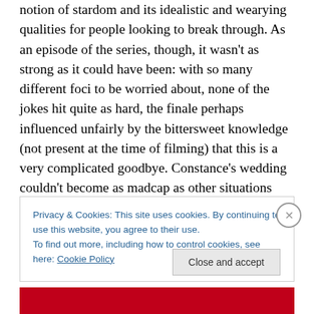notion of stardom and its idealistic and wearying qualities for people looking to break through. As an episode of the series, though, it wasn't as strong as it could have been: with so many different foci to be worried about, none of the jokes hit quite as hard, the finale perhaps influenced unfairly by the bittersweet knowledge (not present at the time of filming) that this is a very complicated goodbye. Constance's wedding couldn't become as madcap as other situations because we don't want her character to be hurt, and as a result it seems like the characters reach either premature or shortened climaxes in terms of their
Privacy & Cookies: This site uses cookies. By continuing to use this website, you agree to their use.
To find out more, including how to control cookies, see here: Cookie Policy
Close and accept